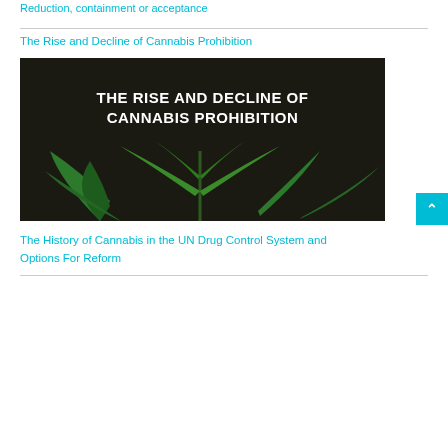Reduction, containment or acceptance
The Rise and Decline of Cannabis Prohibition
[Figure (photo): Book cover image with dark background showing cannabis plant and white text: 'THE RISE AND DECLINE OF CANNABIS PROHIBITION - THE HISTORY OF CANNABIS IN THE UN DRUG CONTROL SYSTEM AND OPTIONS FOR REFORM']
The History of Cannabis in the UN Drug Control System and Options For Reform